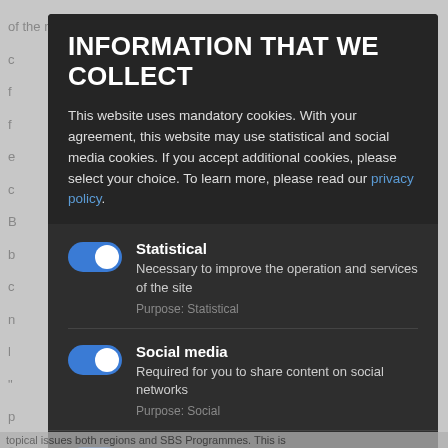INFORMATION THAT WE COLLECT
This website uses mandatory cookies. With your agreement, this website may use statistical and social media cookies. If you accept additional cookies, please select your choice. To learn more, please read our privacy policy.
Statistical — Necessary to improve the operation and services of the site. Purpose: Statistical
Social media — Required for you to share content on social networks. Purpose: Social
Toggle all — Use this switch to enable/disable all apps.